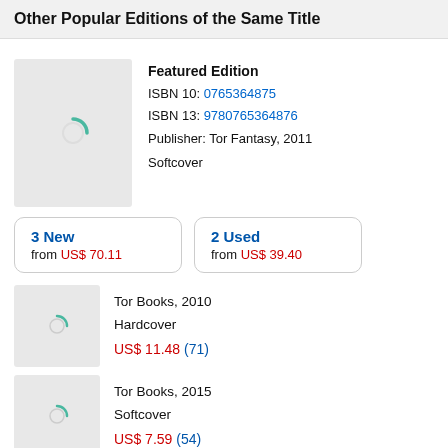Other Popular Editions of the Same Title
Featured Edition
ISBN 10: 0765364875
ISBN 13: 9780765364876
Publisher: Tor Fantasy, 2011
Softcover
3 New
from US$ 70.11
2 Used
from US$ 39.40
Tor Books, 2010
Hardcover
US$ 11.48 (71)
Tor Books, 2015
Softcover
US$ 7.59 (54)
Tor Fa..., 2020